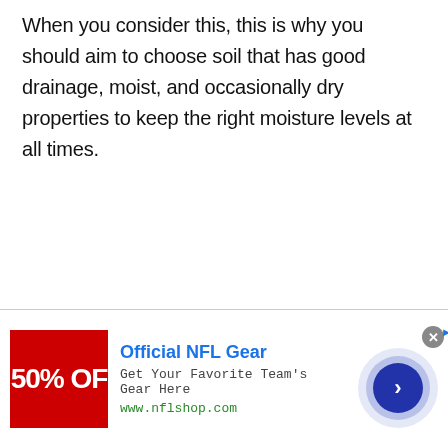When you consider this, this is why you should aim to choose soil that has good drainage, moist, and occasionally dry properties to keep the right moisture levels at all times.
[Figure (other): Advertisement banner: Official NFL Gear - Get Your Favorite Team's Gear Here - www.nflshop.com. Shows a red image with '50% OFF' text, an NFL shop ad with blue title, and a circular arrow button on the right.]